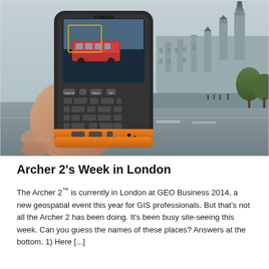[Figure (photo): A hand holding a Trimble Archer 2 rugged GPS/GIS handheld device with a camera viewfinder screen showing a red double-decker bus. In the background is the Houses of Parliament (Westminster) in London, with a road and overcast sky.]
Archer 2’s Week in London
The Archer 2™ is currently in London at GEO Business 2014, a new geospatial event this year for GIS professionals. But that’s not all the Archer 2 has been doing. It’s been busy site-seeing this week. Can you guess the names of these places? Answers at the bottom. 1)  Here [...]